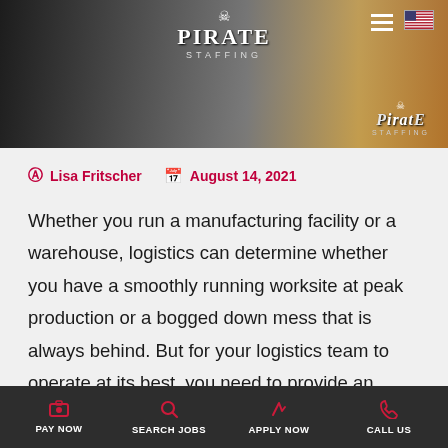[Figure (photo): Pirate Staffing website hero image showing people working at a desk with a laptop, branded with Pirate Staffing logo (skull and crossbones). Navigation with hamburger menu and US flag icon visible.]
Lisa Fritscher   August 14, 2021
Whether you run a manufacturing facility or a warehouse, logistics can determine whether you have a smoothly running worksite at peak production or a bogged down mess that is always behind. But for your logistics team to operate at its best, you need to provide an environment that promotes success. Here's how to increase your logistical efficiency
PAY NOW   SEARCH JOBS   APPLY NOW   CALL US